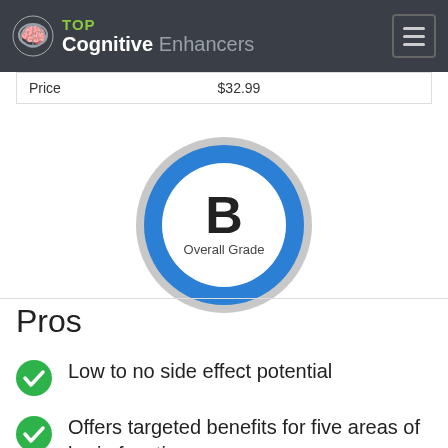TOP Cognitive Enhancers
| Price | $32.99 |
[Figure (infographic): Circle grade badge with blue ring showing letter B and text 'Overall Grade']
Pros
Low to no side effect potential
Offers targeted benefits for five areas of brain function